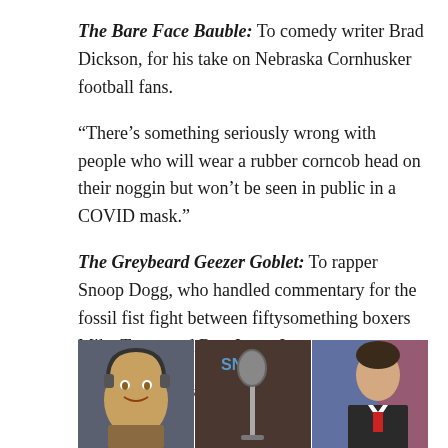The Bare Face Bauble: To comedy writer Brad Dickson, for his take on Nebraska Cornhusker football fans.
“There’s something seriously wrong with people who will wear a rubber corncob head on their noggin but won’t be seen in public in a COVID mask.”
The Greybeard Geezer Goblet: To rapper Snoop Dogg, who handled commentary for the fossil fist fight between fiftysomething boxers Mike Tyson and Roy Jones Jr.
“Like two of my uncles fighting at a barbeque.”
[Figure (photo): Three photos side by side showing what appears to be a mascot with headphones, a microphone, and a man in a suit]